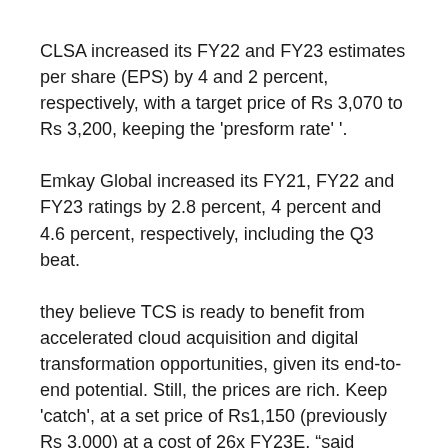CLSA increased its FY22 and FY23 estimates per share (EPS) by 4 and 2 percent, respectively, with a target price of Rs 3,070 to Rs 3,200, keeping the 'presform rate' '.
Emkay Global increased its FY21, FY22 and FY23 ratings by 2.8 percent, 4 percent and 4.6 percent, respectively, including the Q3 beat.
they believe TCS is ready to benefit from accelerated cloud acquisition and digital transformation opportunities, given its end-to-end potential. Still, the prices are rich. Keep 'catch', at a set price of Rs1,150 (previously Rs 3,000) at a cost of 26x FY23E, "said Emkay Global in its review.
Indias number one shopping platform :Amazon